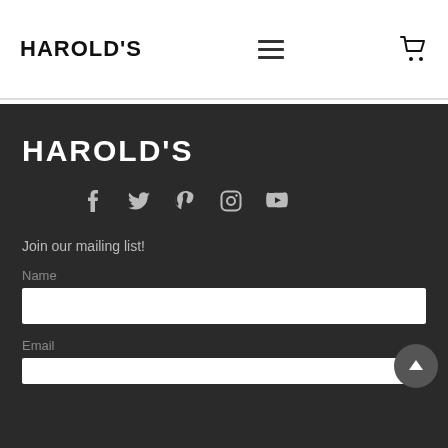HAROLD'S
[Figure (logo): Harold's brand logo in footer, white bold text on dark background]
[Figure (infographic): Social media icons row: Facebook, Twitter, Pinterest, Instagram, YouTube]
Join our mailing list!
Name
Email